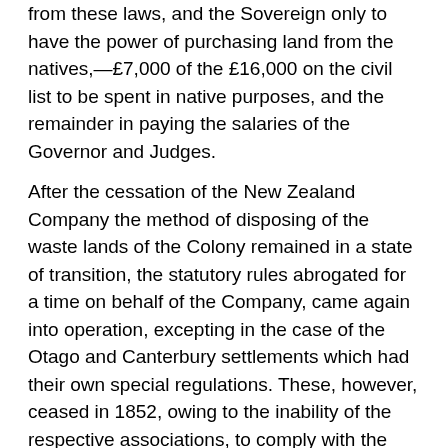from these laws, and the Sovereign only to have the power of purchasing land from the natives,—£7,000 of the £16,000 on the civil list to be spent in native purposes, and the remainder in paying the salaries of the Governor and Judges.
After the cessation of the New Zealand Company the method of disposing of the waste lands of the Colony remained in a state of transition, the statutory rules abrogated for a time on behalf of the Company, came again into operation, excepting in the case of the Otago and Canterbury settlements which had their own special regulations. These, however, ceased in 1852, owing to the inability of the respective associations, to comply with the terms of their original agreement,